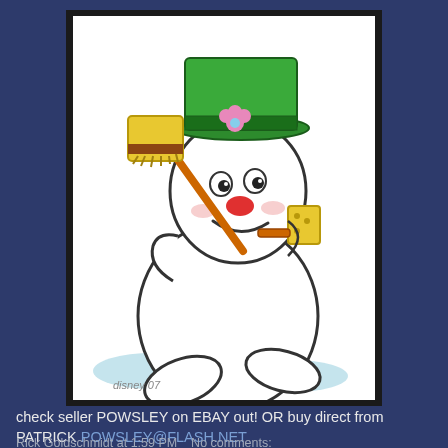[Figure (illustration): Cartoon illustration of Frosty the Snowman dancing, wearing a green top hat with a pink flower, holding a broom over his left shoulder and a yellow mug in his right hand, with a red nose and happy expression, light blue snow patches at bottom. Signed 'disney 07' in lower left.]
check seller POWSLEY on EBAY out! OR buy direct from PATRICK POWSLEY@FLASH.NET
Rick Goldschmidt at 1:59 PM   No comments: